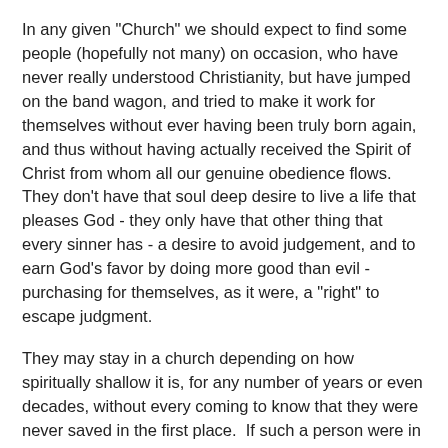In any given "Church" we should expect to find some people (hopefully not many) on occasion, who have never really understood Christianity, but have jumped on the band wagon, and tried to make it work for themselves without ever having been truly born again, and thus without having actually received the Spirit of Christ from whom all our genuine obedience flows.  They don't have that soul deep desire to live a life that pleases God - they only have that other thing that every sinner has - a desire to avoid judgement, and to earn God's favor by doing more good than evil - purchasing for themselves, as it were, a "right" to escape judgment.
They may stay in a church depending on how spiritually shallow it is, for any number of years or even decades, without every coming to know that they were never saved in the first place.  If such a person were in a healthy church, and some inconsistency was discovered in their life, and those who would have helped them to overcome the sin that was besetting them find themselves ignored, so that discipline proceeds - these will either be forced to admit to themselves that they are not genuine believers (and